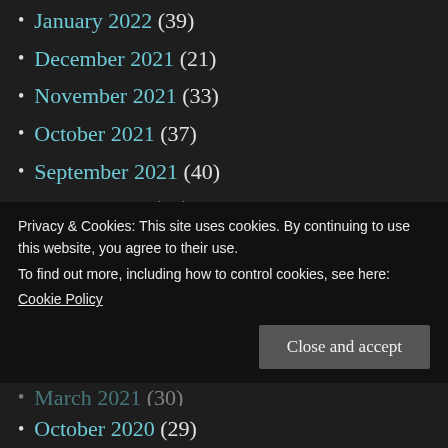January 2022 (39)
December 2021 (21)
November 2021 (33)
October 2021 (37)
September 2021 (40)
August 2021 (37)
July 2021 (29)
June 2021 (35)
May 2021 (32)
April 2021 (40)
March 2021 (30)
Privacy & Cookies: This site uses cookies. By continuing to use this website, you agree to their use. To find out more, including how to control cookies, see here: Cookie Policy
October 2020 (29)